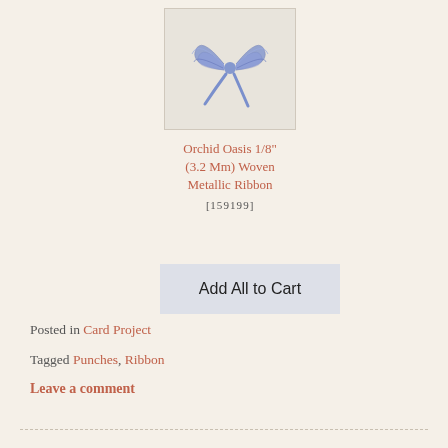[Figure (photo): A blue metallic woven ribbon tied in a bow, photographed on a light background.]
Orchid Oasis 1/8" (3.2 Mm) Woven Metallic Ribbon
[159199]
Add All to Cart
Posted in Card Project
Tagged Punches, Ribbon
Leave a comment